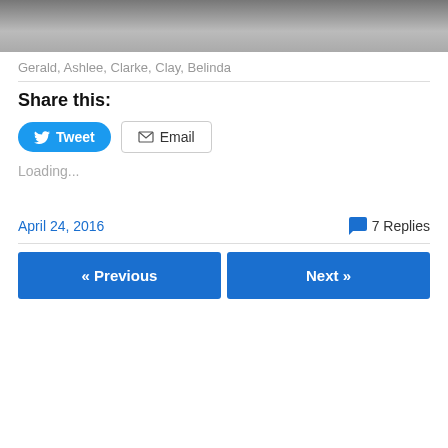[Figure (photo): Bottom portion of a photograph showing people's feet/legs on a concrete surface]
Gerald, Ashlee, Clarke, Clay, Belinda
Share this:
Tweet | Email
Loading...
April 24, 2016   7 Replies
« Previous   Next »